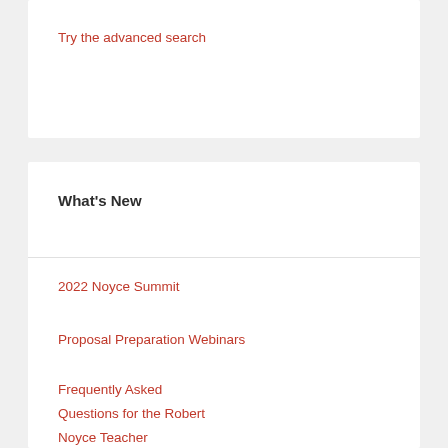Try the advanced search
What's New
2022 Noyce Summit
Proposal Preparation Webinars
Frequently Asked Questions for the Robert Noyce Teacher Scholarship Program
Robert Noyce Scholarship Teachers…